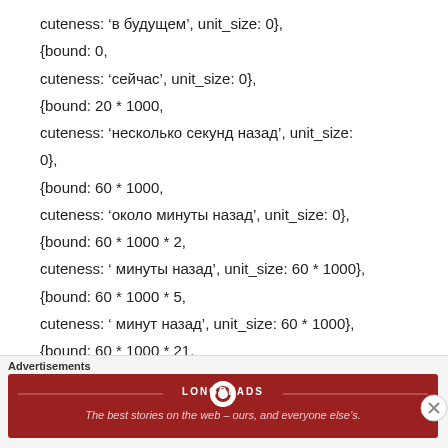cuteness: 'в будущем', unit_size: 0},
{bound: 0,
cuteness: 'сейчас', unit_size: 0},
{bound: 20 * 1000,
cuteness: 'несколько секунд назад', unit_size: 0},
{bound: 60 * 1000,
cuteness: 'около минуты назад', unit_size: 0},
{bound: 60 * 1000 * 2,
cuteness: ' минуты назад', unit_size: 60 * 1000},
{bound: 60 * 1000 * 5,
cuteness: ' минут назад', unit_size: 60 * 1000},
{bound: 60 * 1000 * 21,
Advertisements
[Figure (other): Longreads advertisement banner: red background with Longreads logo and tagline 'The best stories on the web – ours, and everyone else's.']